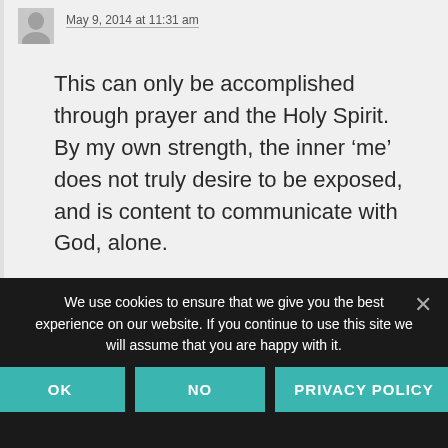May 9, 2014 at 11:31 am
This can only be accomplished through prayer and the Holy Spirit. By my own strength, the inner ‘me’ does not truly desire to be exposed, and is content to communicate with God, alone.
Reply
We use cookies to ensure that we give you the best experience on our website. If you continue to use this site we will assume that you are happy with it.
OK
NO
PRIVACY POLICY